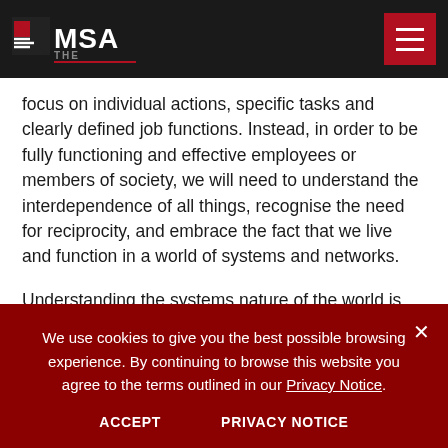THE MSA [logo] [hamburger menu]
focus on individual actions, specific tasks and clearly defined job functions. Instead, in order to be fully functioning and effective employees or members of society, we will need to understand the interdependence of all things, recognise the need for reciprocity, and embrace the fact that we live and function in a world of systems and networks.
Understanding the systems nature of the world is the first vital step in being able to operate effectively within those systems and identify the choices and opportunities they present to leverage information and knowledge to deliver socially advantageous outcomes. By helping students to understand this systems-based
We use cookies to give you the best possible browsing experience. By continuing to browse this website you agree to the terms outlined in our Privacy Notice.
ACCEPT    PRIVACY NOTICE